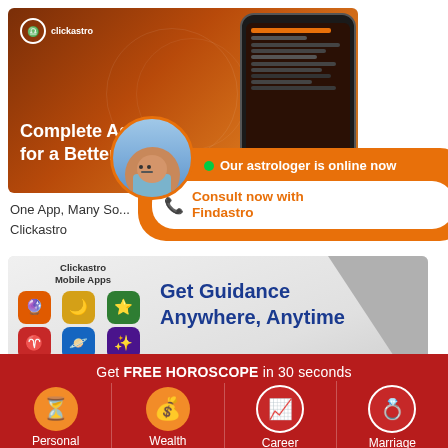[Figure (screenshot): Clickastro app advertisement banner with orange/brown astrology background and phone mockup showing app interface]
[Figure (infographic): Findastro overlay popup showing astrologer avatar, green online dot, 'Our astrologer is online now', and 'Consult now with Findastro' button]
One App, Many So... Clickastro
[Figure (screenshot): Clickastro Mobile Apps banner showing phone with app grid icons, text 'Get Guidance Anywhere, Anytime' and Google Play / App Store buttons]
Get FREE HOROSCOPE in 30 seconds
Personal
Wealth
Career
Marriage